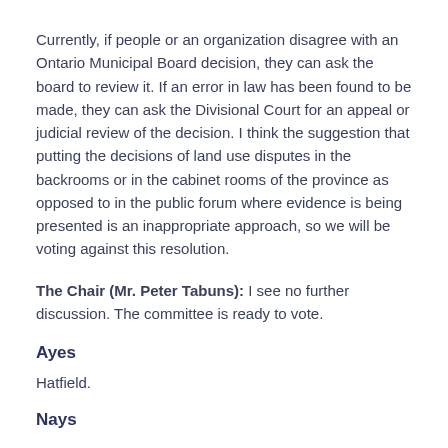Currently, if people or an organization disagree with an Ontario Municipal Board decision, they can ask the board to review it. If an error in law has been found to be made, they can ask the Divisional Court for an appeal or judicial review of the decision. I think the suggestion that putting the decisions of land use disputes in the backrooms or in the cabinet rooms of the province as opposed to in the public forum where evidence is being presented is an inappropriate approach, so we will be voting against this resolution.
The Chair (Mr. Peter Tabuns): I see no further discussion. The committee is ready to vote.
Ayes
Hatfield.
Nays